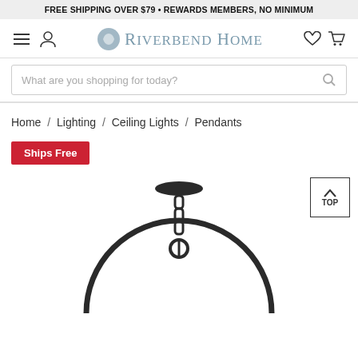FREE SHIPPING OVER $79 • REWARDS MEMBERS, NO MINIMUM
[Figure (logo): Riverbend Home logo with navigation icons (hamburger menu, user icon, heart, cart)]
What are you shopping for today?
Home / Lighting / Ceiling Lights / Pendants
Ships Free
[Figure (photo): Pendant ceiling light fixture in dark/black finish with chain and circular hoop frame, showing top canopy and chain drop]